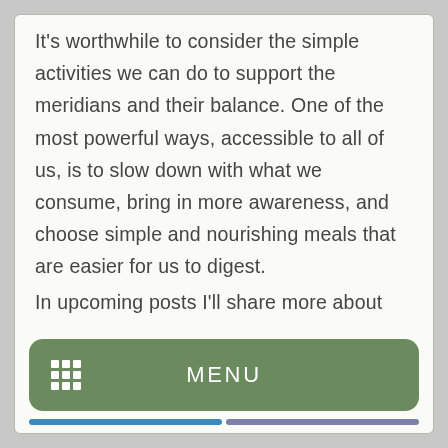It's worthwhile to consider the simple activities we can do to support the meridians and their balance. One of the most powerful ways, accessible to all of us, is to slow down with what we consume, bring in more awareness, and choose simple and nourishing meals that are easier for us to digest.
In upcoming posts I'll share more about how we can support the stomach, and how this also reflects in our approach to thoughts and emotions.
MENU